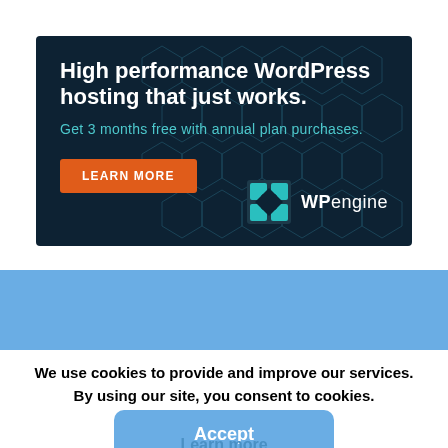[Figure (illustration): WP Engine advertisement banner with dark navy background, hexagon pattern, orange 'LEARN MORE' button, and WP Engine logo on the right]
We use cookies to provide and improve our services. By using our site, you consent to cookies.
Accept
Learn more